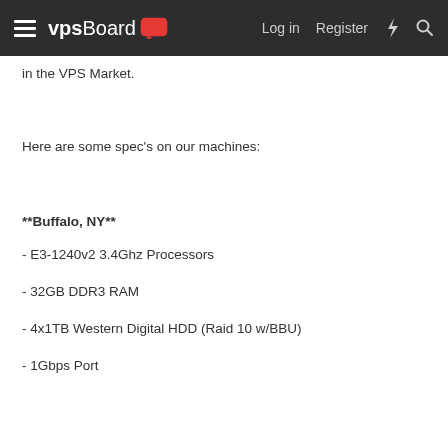vpsBoard — Log in  Register
in the VPS Market.
Here are some spec's on our machines:
**Buffalo, NY**
- E3-1240v2 3.4Ghz Processors
- 32GB DDR3 RAM
- 4x1TB Western Digital HDD (Raid 10 w/BBU)
- 1Gbps Port